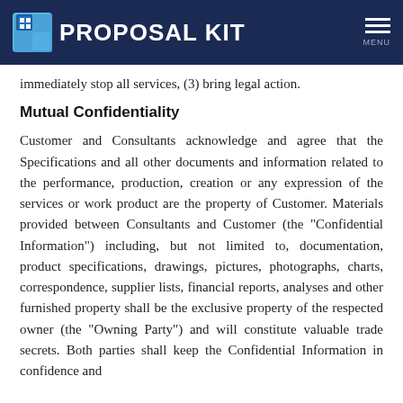PROPOSAL KIT
immediately stop all services, (3) bring legal action.
Mutual Confidentiality
Customer and Consultants acknowledge and agree that the Specifications and all other documents and information related to the performance, production, creation or any expression of the services or work product are the property of Customer. Materials provided between Consultants and Customer (the "Confidential Information") including, but not limited to, documentation, product specifications, drawings, pictures, photographs, charts, correspondence, supplier lists, financial reports, analyses and other furnished property shall be the exclusive property of the respected owner (the "Owning Party") and will constitute valuable trade secrets. Both parties shall keep the Confidential Information in confidence and